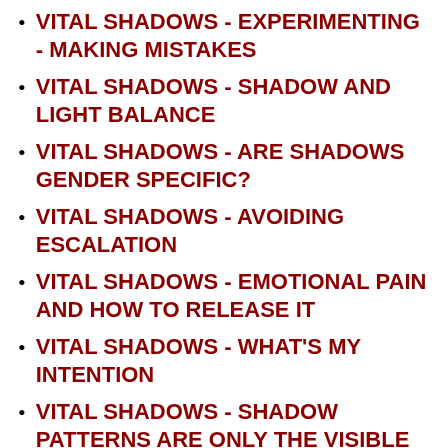VITAL SHADOWS - EXPERIMENTING - MAKING MISTAKES
VITAL SHADOWS - SHADOW AND LIGHT BALANCE
VITAL SHADOWS - ARE SHADOWS GENDER SPECIFIC?
VITAL SHADOWS - AVOIDING ESCALATION
VITAL SHADOWS - EMOTIONAL PAIN AND HOW TO RELEASE IT
VITAL SHADOWS - WHAT'S MY INTENTION
VITAL SHADOWS - SHADOW PATTERNS ARE ONLY THE VISIBLE